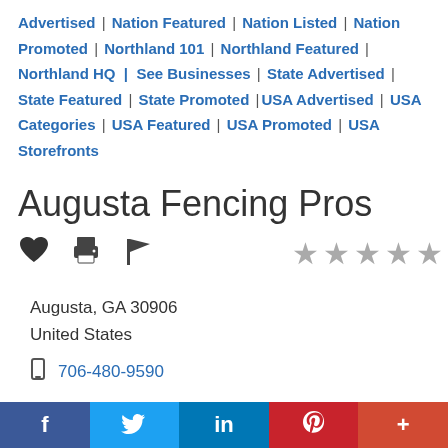Advertised | Nation Featured | Nation Listed | Nation Promoted | Northland 101 | Northland Featured | Northland HQ | See Businesses | State Advertised | State Featured | State Promoted | USA Advertised | USA Categories | USA Featured | USA Promoted | USA Storefronts
Augusta Fencing Pros
[Figure (infographic): Row of icons: heart, printer, flag, and 5 grey stars rating]
Augusta, GA 30906
United States
706-480-9590
f | in | P | +